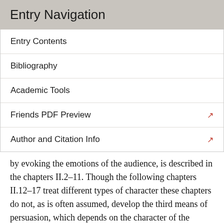Entry Navigation
Entry Contents
Bibliography
Academic Tools
Friends PDF Preview
Author and Citation Info
by evoking the emotions of the audience, is described in the chapters II.2–11. Though the following chapters II.12–17 treat different types of character these chapters do not, as is often assumed, develop the third means of persuasion, which depends on the character of the speaker. The underlying theory of this means of persuasion is elaborated in a few lines of chapter II.1. The aforementioned chapters II.12–17 give information about different types of character and their disposition to emotional response, which can be useful for those speakers who want to arouse the emotions of the